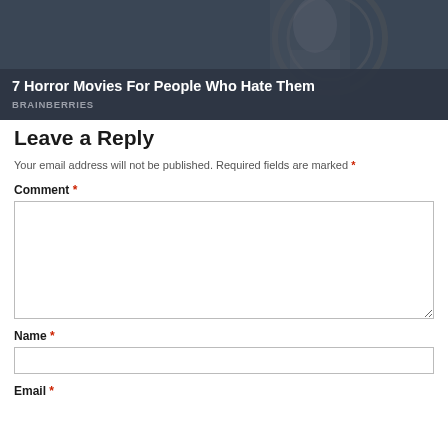[Figure (photo): Dark banner image with ghost/horror figure, overlaid with article title '7 Horror Movies For People Who Hate Them' and source label 'BRAINBERRIES']
Leave a Reply
Your email address will not be published. Required fields are marked *
Comment *
Name *
Email *